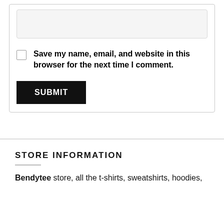[Figure (screenshot): A light grey rounded input/textarea field at the top of the form area]
Save my name, email, and website in this browser for the next time I comment.
SUBMIT
STORE INFORMATION
Bendytee store, all the t-shirts, sweatshirts, hoodies,